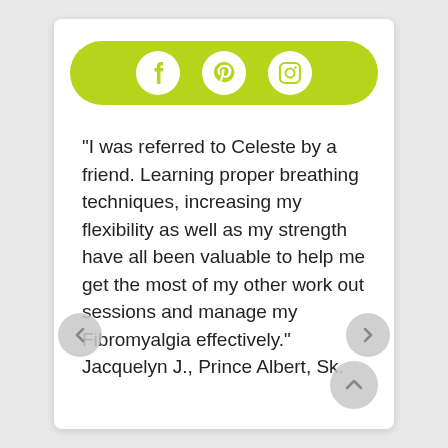[Figure (infographic): Yellow-green pill-shaped social media bar with Facebook, Pinterest, and Instagram icons in white circles]
"I was referred to Celeste by a friend. Learning proper breathing techniques, increasing my flexibility as well as my strength have all been valuable to help me get the most of my other work out sessions and manage my Fibromyalgia effectively." Jacquelyn J., Prince Albert, Sk.